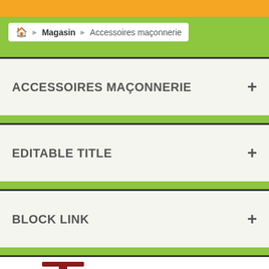Magasin > Accessoires maçonnerie
ACCESSOIRES MAÇONNERIE
EDITABLE TITLE
BLOCK LINK
[Figure (photo): Red adjustable prop / acrow prop construction equipment, partially visible at bottom of page]